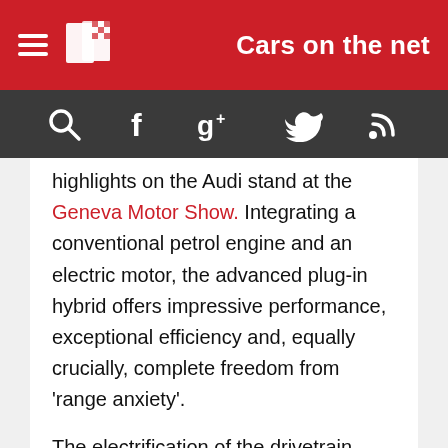Cars on the net
[Figure (screenshot): Navigation icons bar: search (magnifying glass), Facebook, Google+, Twitter, RSS feed icons on dark background]
highlights on the Audi stand at the Geneva Motor Show. Integrating a conventional petrol engine and an electric motor, the advanced plug-in hybrid offers impressive performance, exceptional efficiency and, equally crucially, complete freedom from 'range anxiety'.
The electrification of the drivetrain, above all using plug-in technology, will play a decisive role in the model strategy of the Vorsprung durch Technik brand. This latest development is designed to give some insight into how the